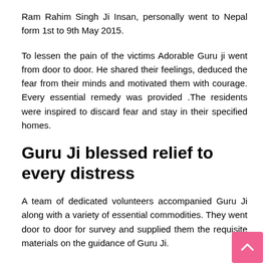Ram Rahim Singh Ji Insan, personally went to Nepal form 1st to 9th May 2015.
To lessen the pain of the victims Adorable Guru ji went from door to door. He shared their feelings, deduced the fear from their minds and motivated them with courage. Every essential remedy was provided .The residents were inspired to discard fear and stay in their specified homes.
Guru Ji blessed relief to every distress
A team of dedicated volunteers accompanied Guru Ji along with a variety of essential commodities. They went door to door for survey and supplied them the requisite materials on the guidance of Guru Ji.